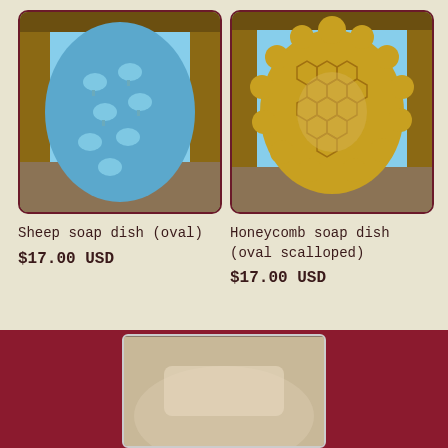[Figure (photo): Blue oval ceramic sheep soap dish with embossed sheep pattern, photographed outdoors on a wooden surface]
Sheep soap dish (oval)
$17.00 USD
[Figure (photo): Gold/yellow oval scalloped ceramic honeycomb soap dish with hexagonal pattern, photographed outdoors]
Honeycomb soap dish (oval scalloped)
$17.00 USD
[Figure (photo): Partial view of another ceramic product in a maroon/dark red background section at the bottom of the page]